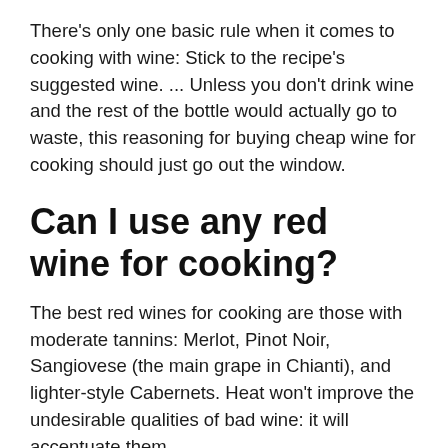There's only one basic rule when it comes to cooking with wine: Stick to the recipe's suggested wine. ... Unless you don't drink wine and the rest of the bottle would actually go to waste, this reasoning for buying cheap wine for cooking should just go out the window.
Can I use any red wine for cooking?
The best red wines for cooking are those with moderate tannins: Merlot, Pinot Noir, Sangiovese (the main grape in Chianti), and lighter-style Cabernets. Heat won't improve the undesirable qualities of bad wine: it will accentuate them.